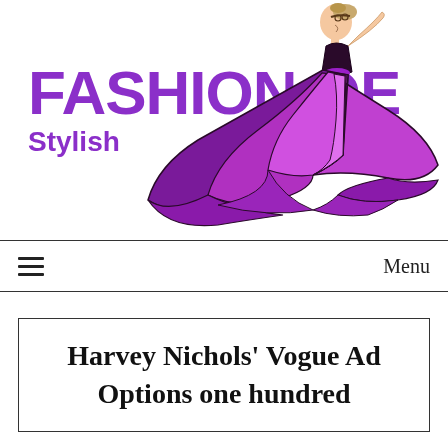[Figure (logo): FashionQE Stylish logo with purple bold text and an illustrated woman in a flowing purple/magenta gown]
≡   Menu
Harvey Nichols' Vogue Ad Options one hundred